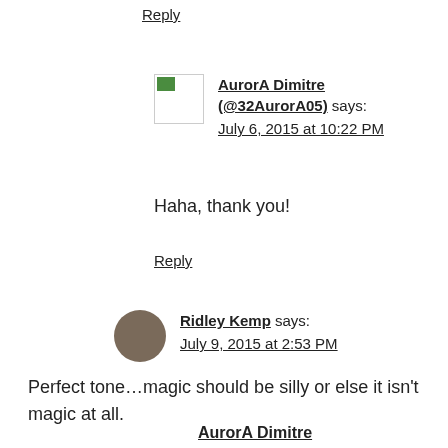Reply
AurorA Dimitre (@32AurorA05) says:
July 6, 2015 at 10:22 PM
Haha, thank you!
Reply
Ridley Kemp says:
July 9, 2015 at 2:53 PM
Perfect tone…magic should be silly or else it isn't magic at all.
Reply
AurorA Dimitre